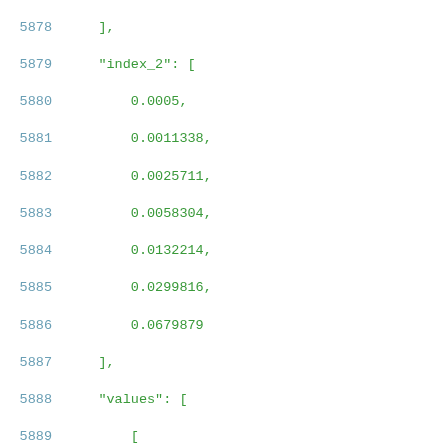5878    ],
5879    "index_2": [
5880        0.0005,
5881        0.0011338,
5882        0.0025711,
5883        0.0058304,
5884        0.0132214,
5885        0.0299816,
5886        0.0679879
5887    ],
5888    "values": [
5889        [
5890            0.0260656,
5891            0.0290741,
5892            0.0356718,
5893            0.0500025,
5894            0.081569,
5895            0.1519408,
5896            0.3108404
5897        ],
5898        [
5899            0.0282359,